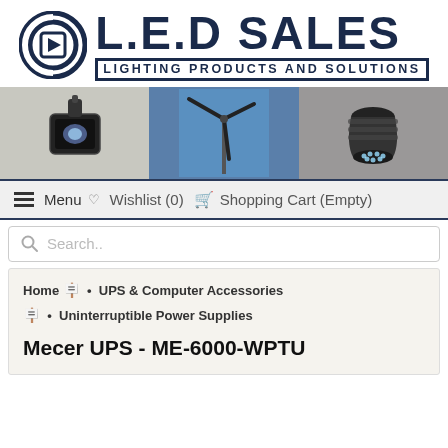[Figure (logo): LED Sales logo with circular LED lamp icon and text 'L.E.D SALES LIGHTING PRODUCTS AND SOLUTIONS']
[Figure (photo): Hero banner with three panels: left shows LED floodlight, center shows wind turbine against blue sky, right shows LED spotlight bulb]
Menu  Wishlist (0)  Shopping Cart (Empty)
Search..
Home • UPS & Computer Accessories • Uninterruptible Power Supplies
Mecer UPS - ME-6000-WPTU